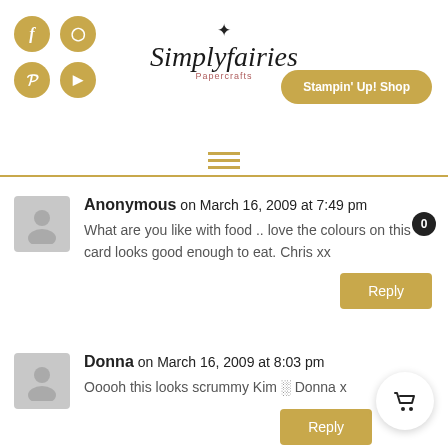Simplyfairies Papercrafts — Stampin' Up! Shop
Anonymous on March 16, 2009 at 7:49 pm
What are you like with food .. love the colours on this card looks good enough to eat. Chris xx
Reply
Donna on March 16, 2009 at 8:03 pm
Ooooh this looks scrummy Kim 🍰 Donna x
Reply